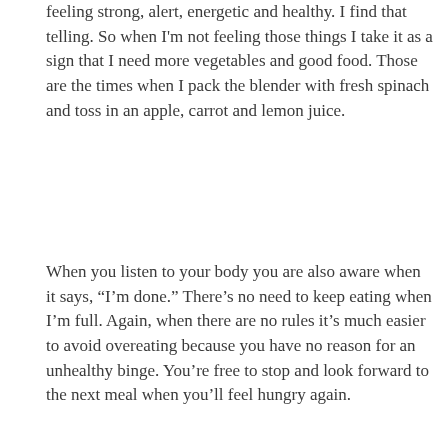feeling strong, alert, energetic and healthy. I find that telling. So when I'm not feeling those things I take it as a sign that I need more vegetables and good food. Those are the times when I pack the blender with fresh spinach and toss in an apple, carrot and lemon juice.
When you listen to your body you are also aware when it says, "I'm done." There's no need to keep eating when I'm full. Again, when there are no rules it's much easier to avoid overeating because you have no reason for an unhealthy binge. You're free to stop and look forward to the next meal when you'll feel hungry again.
[Figure (photo): Close-up photo of green vegetables (appears to be bok choy or leeks) with a white stalk prominent against a dark green background, shot in low key lighting.]